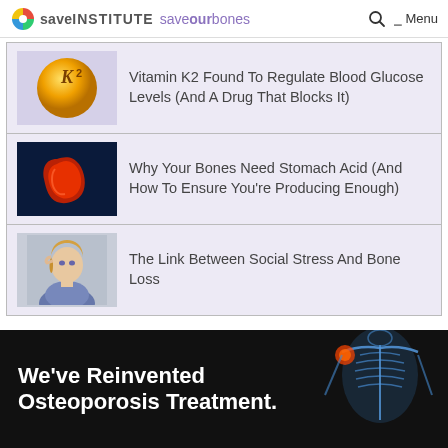Save Institute saveourbones — Menu
Vitamin K2 Found To Regulate Blood Glucose Levels (And A Drug That Blocks It)
Why Your Bones Need Stomach Acid (And How To Ensure You're Producing Enough)
The Link Between Social Stress And Bone Loss
We've Reinvented Osteoporosis Treatment.